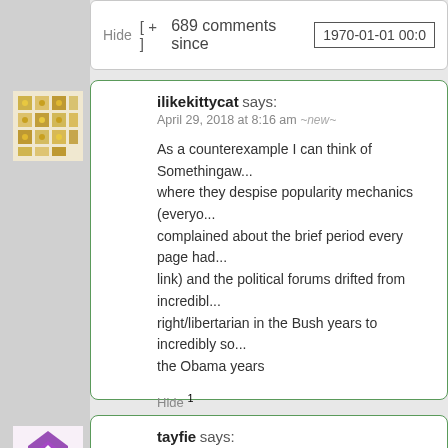Hide  [ + ]  689 comments since  1970-01-01 00:0
ilikekittycat says:
April 29, 2018 at 8:16 am ~new~
As a counterexample I can think of Somethingaw... where they despise popularity mechanics (everyo... complained about the brief period every page had... link) and the political forums drifted from incredibl... right/libertarian in the Bush years to incredibly so... the Obama years
Hide 1
tayfie says:
April 29, 2018 at 1:38 pm ~new~
Tumblr does have community guidelines that pro... reporting for outright illegal (in the US) things, an... are explicitly a part of the user agreement. Howev...